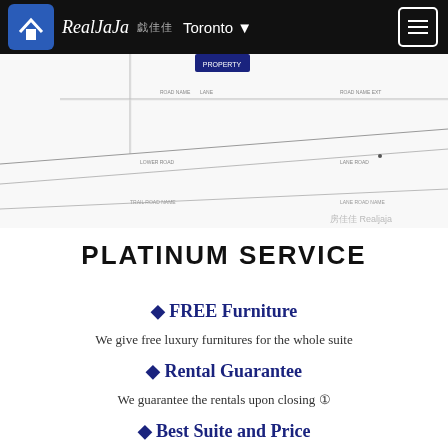RealJaJa 房佳佳 Toronto
[Figure (map): Street map diagram showing intersection roads with labels, partially visible at top of page. Watermark reads '房佳佳 Realjaja']
PLATINUM SERVICE
♦ FREE Furniture
We give free luxury furnitures for the whole suite
♦ Rental Guarantee
We guarantee the rentals upon closing ①
♦ Best Suite and Price